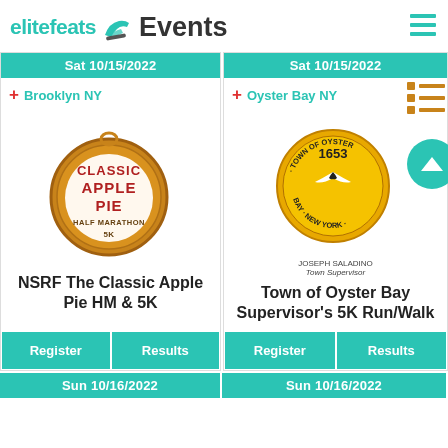elitefeats Events
Sat 10/15/2022
Sat 10/15/2022
+ Brooklyn NY
+ Oyster Bay NY
[Figure (logo): Classic Apple Pie Half Marathon & 5K event logo - circular medal design with text CLASSIC APPLE PIE HALF MARATHON 5K]
[Figure (logo): Town of Oyster Bay seal/logo - circular gold badge with bird, established 1653, Joseph Saladino Town Supervisor]
NSRF The Classic Apple Pie HM & 5K
Town of Oyster Bay Supervisor's 5K Run/Walk
Register
Results
Register
Results
Sun 10/16/2022
Sun 10/16/2022